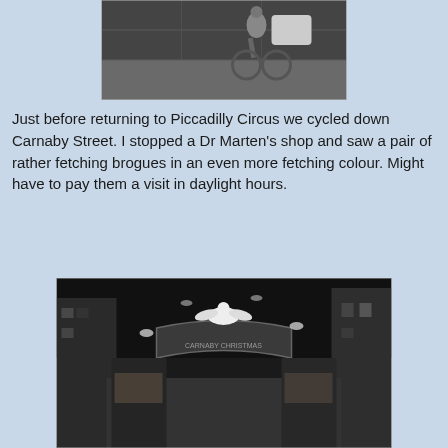[Figure (photo): Black and white photo showing a street scene with a person on a bicycle, viewed from above, pavement visible]
Just before returning to Piccadilly Circus we cycled down Carnaby Street. I stopped a Dr Marten's shop and saw a pair of rather fetching brogues in an even more fetching colour. Might have to pay them a visit in daylight hours.
[Figure (photo): Black and white night photo of Carnaby Street Christmas decorations, showing the street arch with a white bird on top, illuminated shopfronts lining the street]